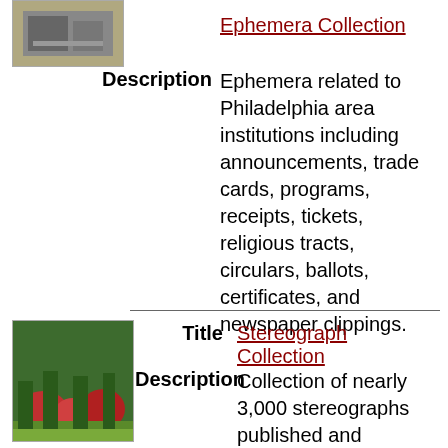[Figure (photo): Small thumbnail image of a building or street scene for Ephemera Collection]
Ephemera Collection
Description
Ephemera related to Philadelphia area institutions including announcements, trade cards, programs, receipts, tickets, religious tracts, circulars, ballots, certificates, and newspaper clippings.
[Figure (photo): Thumbnail image of a garden with colorful flowers for Stereograph Collection]
Title
Stereograph Collection
Description
Collection of nearly 3,000 stereographs published and distributed in or of Philadelphia. The photographs mainly portray commercial and residential street scenes, particularly